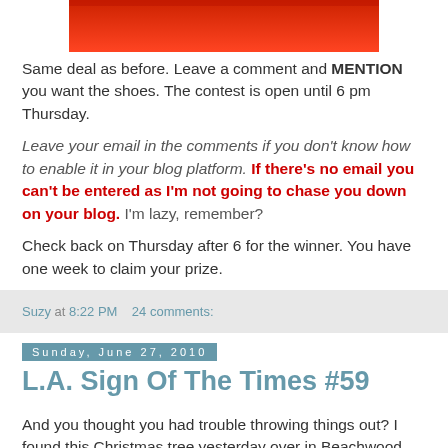[Figure (photo): Red gradient/photo cropped at top of page]
Same deal as before. Leave a comment and MENTION you want the shoes. The contest is open until 6 pm Thursday.
Leave your email in the comments if you don't know how to enable it in your blog platform. If there's no email you can't be entered as I'm not going to chase you down on your blog. I'm lazy, remember?
Check back on Thursday after 6 for the winner. You have one week to claim your prize.
Suzy at 8:22 PM    24 comments:
Sunday, June 27, 2010
L.A. Sign Of The Times #59
And you thought you had trouble throwing things out? I found this Christmas tree yesterday over in Beachwood Canyon.